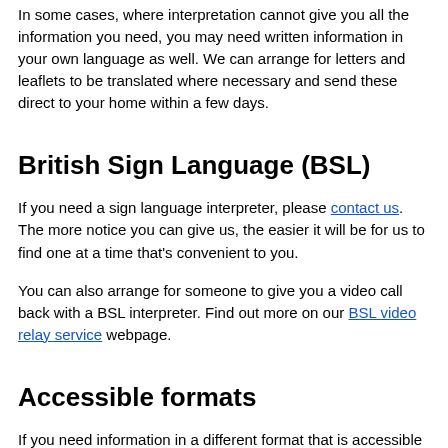In some cases, where interpretation cannot give you all the information you need, you may need written information in your own language as well. We can arrange for letters and leaflets to be translated where necessary and send these direct to your home within a few days.
British Sign Language (BSL)
If you need a sign language interpreter, please contact us. The more notice you can give us, the easier it will be for us to find one at a time that's convenient to you.
You can also arrange for someone to give you a video call back with a BSL interpreter. Find out more on our BSL video relay service webpage.
Accessible formats
If you need information in a different format that is accessible to you then please contact us. We can arrange for any information on our website, letters or leaflets to be produced in accessible formats to be sent to you, such as: